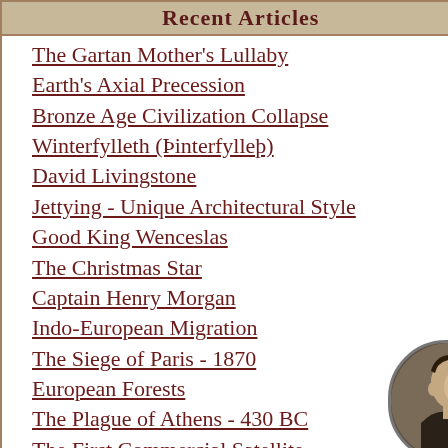Recent Articles
The Gartan Mother's Lullaby
Earth's Axial Precession
Bronze Age Civilization Collapse
Winterfylleth (Þinterfylleþ)
David Livingstone
Jettying - Unique Architectural Style
Good King Wenceslas
The Christmas Star
Captain Henry Morgan
Indo-European Migration
The Siege of Paris - 1870
European Forests
The Plague of Athens - 430 BC
The First Commercial Satellite
First Flight Over the North Pole
[Figure (photo): Black and white circular portrait of a man in profile, facing right]
"It is possible to